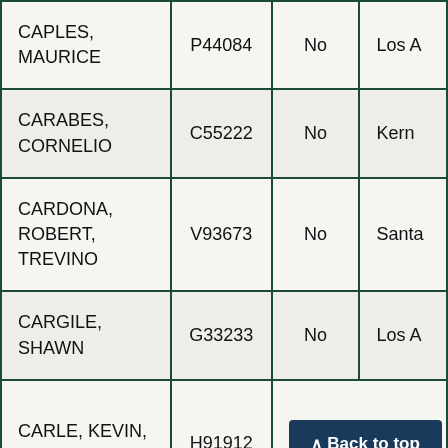| Name | ID | No | Location |
| --- | --- | --- | --- |
| CAPLES, MAURICE | P44084 | No | Los A |
| CARABES, CORNELIO | C55222 | No | Kern |
| CARDONA, ROBERT, TREVINO | V93673 | No | Santa |
| CARGILE, SHAWN | G33233 | No | Los A |
| CARLE, KEVIN, D | H91912 |  |  |